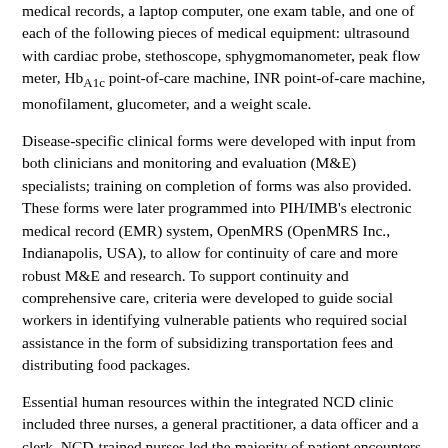medical records, a laptop computer, one exam table, and one of each of the following pieces of medical equipment: ultrasound with cardiac probe, stethoscope, sphygmomanometer, peak flow meter, HbA1c point-of-care machine, INR point-of-care machine, monofilament, glucometer, and a weight scale.
Disease-specific clinical forms were developed with input from both clinicians and monitoring and evaluation (M&E) specialists; training on completion of forms was also provided. These forms were later programmed into PIH/IMB's electronic medical record (EMR) system, OpenMRS (OpenMRS Inc., Indianapolis, USA), to allow for continuity of care and more robust M&E and research. To support continuity and comprehensive care, criteria were developed to guide social workers in identifying vulnerable patients who required social assistance in the form of subsidizing transportation fees and distributing food packages.
Essential human resources within the integrated NCD clinic included three nurses, a general practitioner, a data officer and a clerk. NCD-trained nurses led the majority of patient encounters. The general practitioner attended to more complex cases such as patients not responding to standardized treatment regimens or those at especially high risk for clinical exacerbation. The data officer managed patient data and files, transcribed data from the paper forms into the EMR, and monitored form completeness. The clerk facilitated administrative workflows within the clinic and its